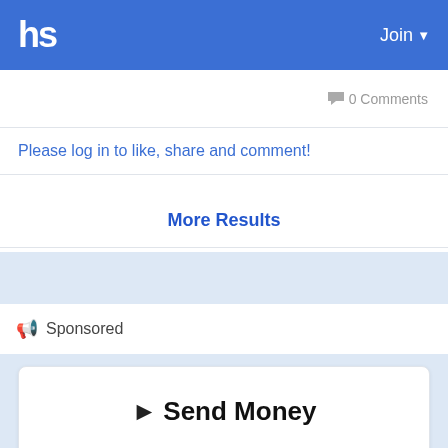hs  Join
0 Comments
Please log in to like, share and comment!
More Results
Sponsored
[Figure (infographic): Send Money advertisement with centEPay logo and Wallet link]
Send Money
centEPay  Wallet »